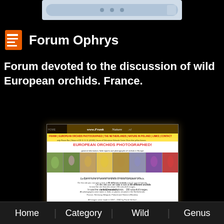[Figure (screenshot): Browser address bar screenshot at top of page]
Forum Ophrys
Forum devoted to the discussion of wild European orchids. France.
[Figure (screenshot): Screenshot of www.FrankNature.nl website showing European Orchids Photographed page with orchid photos and text about 90 different orchids and 12 natural hybrids, about 290 colourful images, photos taken in Netherlands, France, Germany, Belgium, Poland, Greece (Rhodes), images made 1997-2002 by Frank Verhart]
Home   Category   Wild   Genus